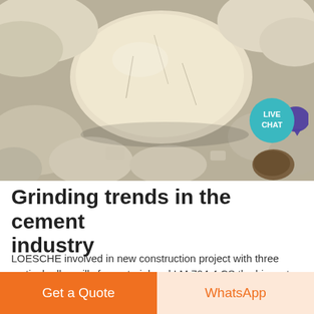[Figure (photo): Close-up photograph of white/cream colored rough stone chunks or limestone pieces, with a dark brownish stone visible in the lower right area.]
Grinding trends in the cement industry
LOESCHE involved in new construction project with three vertical roller mills for material and LM 704 4 CS the biggest LOESCHE VRM for grinding cement Columbia Steel offers a broad range of durable replacement parts for vertical roller mills including tires grinding ring segments armor rings and morethe vertical mill the roller press also known as high pressure grinding
Get a Quote
WhatsApp